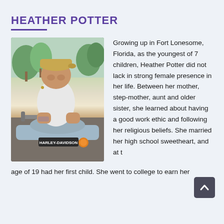HEATHER POTTER
[Figure (photo): Photo of Heather Potter sitting on a Harley-Davidson motorcycle, wearing a white t-shirt, tan baseball cap, and showing a tattoo on her arm. Background shows trees and outdoor scenery.]
Growing up in Fort Lonesome, Florida, as the youngest of 7 children, Heather Potter did not lack in strong female presence in her life. Between her mother, step-mother, aunt and older sister, she learned about having a good work ethic and following her religious beliefs. She married her high school sweetheart, and at t
age of 19 had her first child. She went to college to earn her